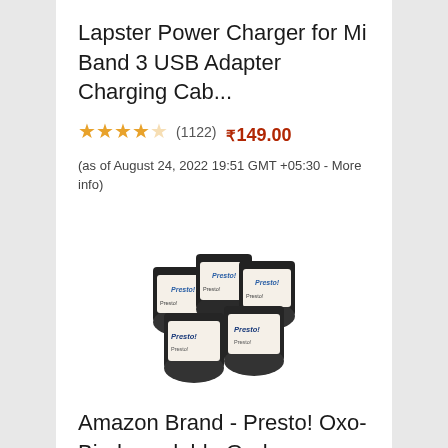Lapster Power Charger for Mi Band 3 USB Adapter Charging Cab...
★★★★☆ (1122)  ₹149.00  (as of August 24, 2022 19:51 GMT +05:30 - More info)
[Figure (photo): Photo of Amazon Brand Presto garbage bag rolls bundled together, white packaging with 'Presto!' branding and black roll ends visible]
Amazon Brand - Presto! Oxo-Biodegradable Garbage Bags, Mediu...
★★★★☆ (22371)  ₹375.00  (as of August 24, 2022